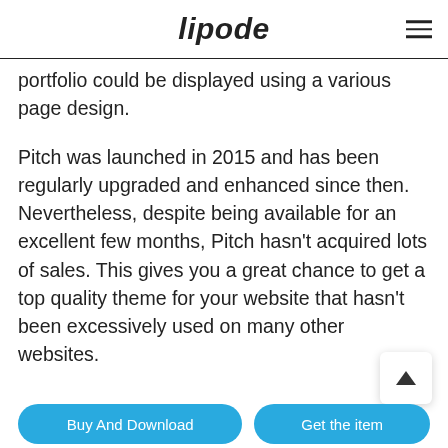lipode
portfolio could be displayed using a various page design.
Pitch was launched in 2015 and has been regularly upgraded and enhanced since then. Nevertheless, despite being available for an excellent few months, Pitch hasn't acquired lots of sales. This gives you a great chance to get a top quality theme for your website that hasn't been excessively used on many other websites.